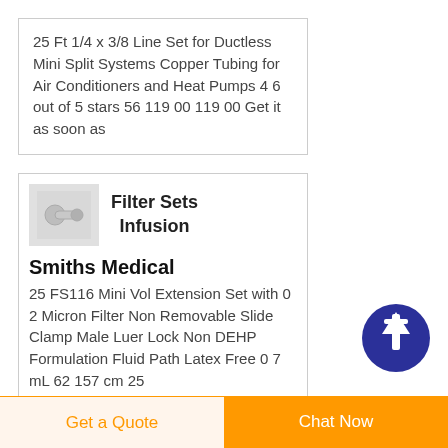25 Ft 1/4 x 3/8 Line Set for Ductless Mini Split Systems Copper Tubing for Air Conditioners and Heat Pumps 4 6 out of 5 stars 56 119 00 119 00 Get it as soon as
[Figure (photo): Small white fitting/connector product thumbnail]
Filter Sets Infusion
Smiths Medical
25 FS116 Mini Vol Extension Set with 0 2 Micron Filter Non Removable Slide Clamp Male Luer Lock Non DEHP Formulation Fluid Path Latex Free 0 7 mL 62 157 cm 25
Get a Quote
Chat Now